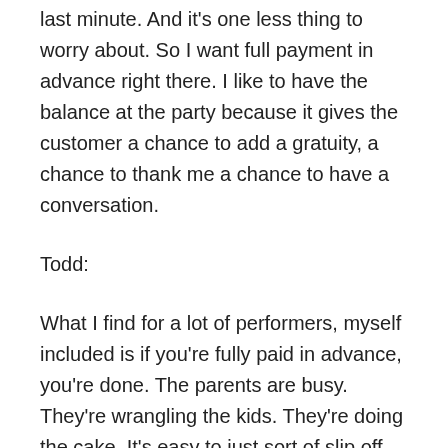last minute. And it's one less thing to worry about. So I want full payment in advance right there. I like to have the balance at the party because it gives the customer a chance to add a gratuity, a chance to thank me a chance to have a conversation.
Todd:
What I find for a lot of performers, myself included is if you're fully paid in advance, you're done. The parents are busy. They're wrangling the kids. They're doing the cake. It's easy to just sort of slip off and say, Hey, thanks. See your kids. It was great. And leave because otherwise you get trapped. Oh, I want to see one more show. And that's a very bad tendency, very bad tendency. So to force me to have